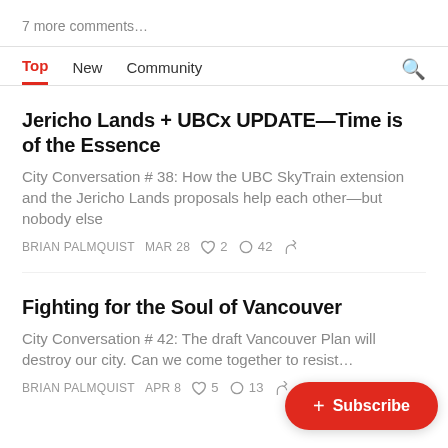7 more comments…
Jericho Lands + UBCx UPDATE—Time is of the Essence
City Conversation # 38: How the UBC SkyTrain extension and the Jericho Lands proposals help each other—but nobody else
BRIAN PALMQUIST  MAR 28  ♡ 2  ○ 42
Fighting for the Soul of Vancouver
City Conversation # 42: The draft Vancouver Plan will destroy our city. Can we come together to resist…
BRIAN PALMQUIST  APR 8  ♡ 5  ○ 13